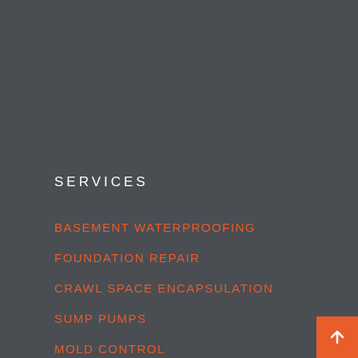SERVICES
BASEMENT WATERPROOFING
FOUNDATION REPAIR
CRAWL SPACE ENCAPSULATION
SUMP PUMPS
MOLD CONTROL
BASEMENT REPAIR STUDIES
ENERGY AUDIT STUDIES
CRACK INJECTION
DRY BASEMENT SOLUTIONS